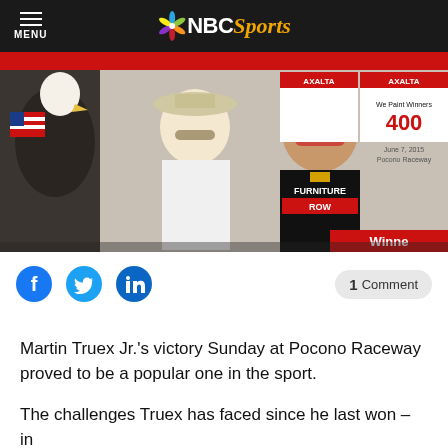MENU | NBC Sports
[Figure (photo): Martin Truex Jr. posing with a woman at Pocono Raceway victory lane, June 7, 2015. Axalta We Paint Winners 400 signage visible in background. Furniture Row racing suit worn by Truex. Winner banner visible.]
1 Comment
Martin Truex Jr.'s victory Sunday at Pocono Raceway proved to be a popular one in the sport.
The challenges Truex has faced since he last won – in